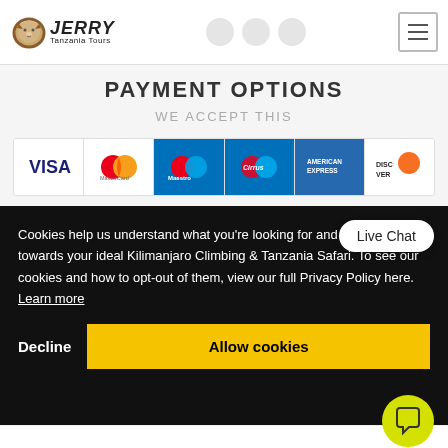Jerry Tanzania Tours
PAYMENT OPTIONS
WE ACCEPT THIS
[Figure (logo): Row of payment method logos: VISA, MasterCard, Maestro, Cirrus, American Express, Discover]
Cookies help us understand what you're looking for and point you towards your ideal Kilimanjaro Climbing & Tanzania Safari. To see our cookies and how to opt-out of them, view our full Privacy Policy here. Learn more
Decline   Allow cookies
Live Chat